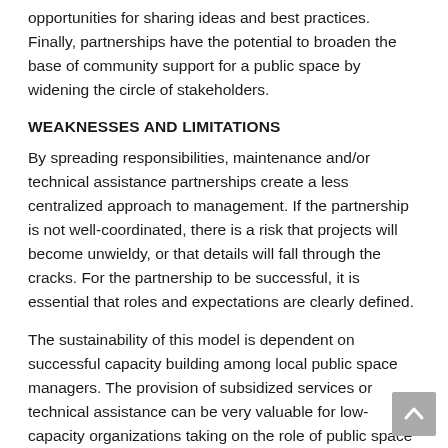opportunities for sharing ideas and best practices. Finally, partnerships have the potential to broaden the base of community support for a public space by widening the circle of stakeholders.
WEAKNESSES AND LIMITATIONS
By spreading responsibilities, maintenance and/or technical assistance partnerships create a less centralized approach to management. If the partnership is not well-coordinated, there is a risk that projects will become unwieldy, or that details will fall through the cracks. For the partnership to be successful, it is essential that roles and expectations are clearly defined.
The sustainability of this model is dependent on successful capacity building among local public space managers. The provision of subsidized services or technical assistance can be very valuable for low-capacity organizations taking on the role of public space manager for the first time. But, it is essential that the assistance framework includes a clear path to increased self-sufficiency for public space stewards as